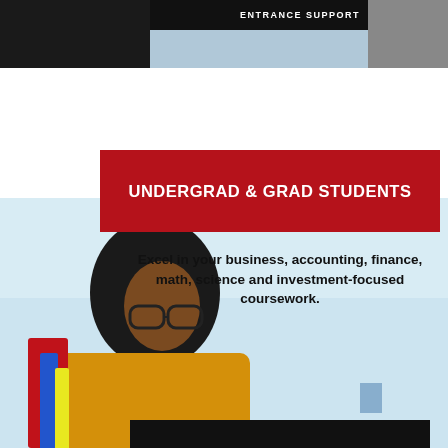[Figure (photo): Partial top strip showing a person (likely a student) against a dark background, with a black banner reading 'ENTRANCE SUPPORT' in white uppercase text. The right side shows a lighter grey area.]
UNDERGRAD & GRAD STUDENTS
[Figure (photo): A female student with curly hair and glasses wearing a yellow jacket and carrying red folders and a backpack, looking upward against a light blue sky background. A dark bar appears at the bottom of the image.]
Excel in your business, accounting, finance, math, science and investment-focused coursework.